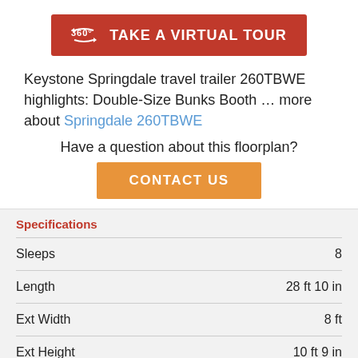[Figure (other): Red button with 360-degree icon and text TAKE A VIRTUAL TOUR]
Keystone Springdale travel trailer 260TBWE highlights: Double-Size Bunks Booth … more about Springdale 260TBWE
Have a question about this floorplan?
[Figure (other): Orange CONTACT US button]
Specifications
|  |  |
| --- | --- |
| Sleeps | 8 |
| Length | 28 ft 10 in |
| Ext Width | 8 ft |
| Ext Height | 10 ft 9 in |